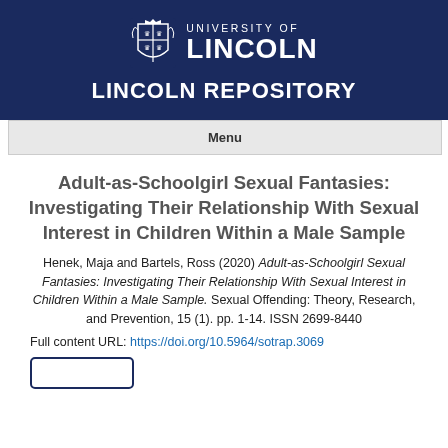[Figure (logo): University of Lincoln logo with coat of arms and text, on dark navy background, with LINCOLN REPOSITORY title below]
Menu
Adult-as-Schoolgirl Sexual Fantasies: Investigating Their Relationship With Sexual Interest in Children Within a Male Sample
Henek, Maja and Bartels, Ross (2020) Adult-as-Schoolgirl Sexual Fantasies: Investigating Their Relationship With Sexual Interest in Children Within a Male Sample. Sexual Offending: Theory, Research, and Prevention, 15 (1). pp. 1-14. ISSN 2699-8440
Full content URL: https://doi.org/10.5964/sotrap.3069